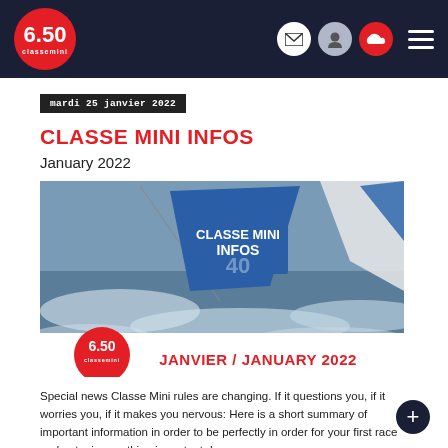6.50 classemini — navigation bar with logo, mail, user, badge icons, and hamburger menu
mardi 25 janvier 2022
CLASSE MINI INFOS
January 2022
[Figure (photo): Sailing boat on rough water with blue spinnaker sail showing 'CLASSE MINI INFOS' text and number 40. Bottom banner shows 6.50 classemini logo and text 'JANVIER / JANUARY 2022' in red.]
Special news Classe Mini rules are changing. If it questions you, if it worries you, if it makes you nervous: Here is a short summary of important information in order to be perfectly in order for your first race and not miss anything important du...